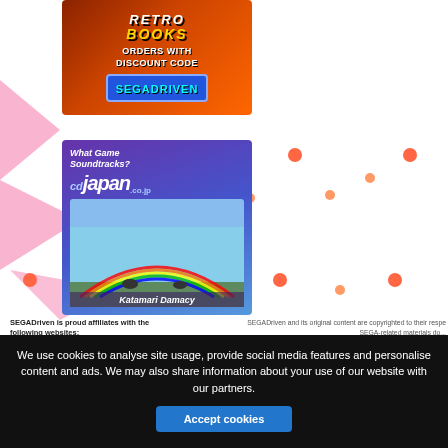[Figure (illustration): Retro Books advertisement banner with orange/brown gradient background, pink triangle decorations and coral dots, text 'RETRO BOOKS ORDERS WITH DISCOUNT CODE SEGADRIVEN']
[Figure (illustration): CDJapan advertisement banner with purple/blue gradient background, featuring 'What Game Soundtracks? cdjapan.co.jp' logo, rainbow landscape scene, and 'Katamari Damacy' text]
SEGADriven is proud affiliates with the following websites:
SEGADriven and its original content are copyrighted to their respe... SEGA-related materials do...
- Dreamcast Live
- Emerald Coast
- MegaDrive.me
- Project Phoenix Productions
We use cookies to analyse site usage, provide social media features and personalise content and ads. We may also share information about your use of our website with our partners.